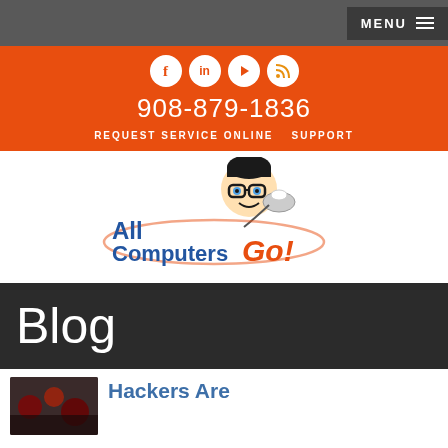MENU ≡
908-879-1836 | REQUEST SERVICE ONLINE | SUPPORT
[Figure (logo): All Computers Go! logo with cartoon nerd character holding a computer mouse]
Blog
Hackers Are